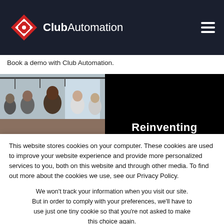Club Automation
Book a demo with Club Automation.
[Figure (photo): Left half: photo of a group of people in a gym/fitness class setting. Right half: black background with partial text 'Reinventing' in white bold font.]
This website stores cookies on your computer. These cookies are used to improve your website experience and provide more personalized services to you, both on this website and through other media. To find out more about the cookies we use, see our Privacy Policy.
We won't track your information when you visit our site. But in order to comply with your preferences, we'll have to use just one tiny cookie so that you're not asked to make this choice again.